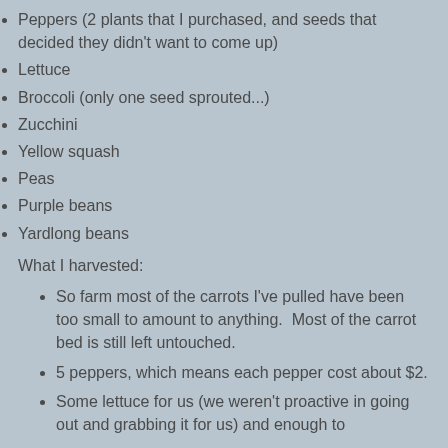Peppers (2 plants that I purchased, and seeds that decided they didn't want to come up)
Lettuce
Broccoli (only one seed sprouted...)
Zucchini
Yellow squash
Peas
Purple beans
Yardlong beans
What I harvested:
So farm most of the carrots I've pulled have been too small to amount to anything.  Most of the carrot bed is still left untouched.
5 peppers, which means each pepper cost about $2.
Some lettuce for us (we weren't proactive in going out and grabbing it for us) and enough to